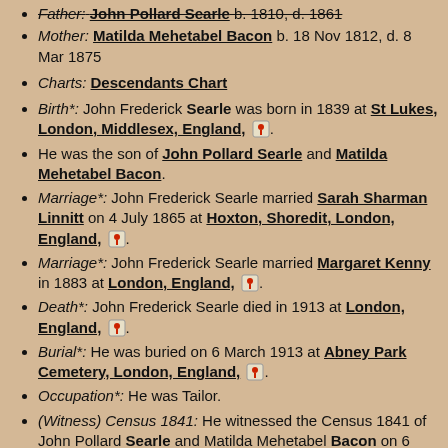Father: John Pollard Searle b. 1810, d. 1861
Mother: Matilda Mehetabel Bacon b. 18 Nov 1812, d. 8 Mar 1875
Charts: Descendants Chart
Birth*: John Frederick Searle was born in 1839 at St Lukes, London, Middlesex, England,
He was the son of John Pollard Searle and Matilda Mehetabel Bacon.
Marriage*: John Frederick Searle married Sarah Sharman Linnitt on 4 July 1865 at Hoxton, Shoredit, London, England,
Marriage*: John Frederick Searle married Margaret Kenny in 1883 at London, England,
Death*: John Frederick Searle died in 1913 at London, England,
Burial*: He was buried on 6 March 1913 at Abney Park Cemetery, London, England,
Occupation*: He was Tailor.
(Witness) Census 1841: He witnessed the Census 1841 of John Pollard Searle and Matilda Mehetabel Bacon on 6 June 1841 at Nelson Street, St Luke, Finsbury, Middlesex, England,
(Witness) Census 1851: John Frederick Searle